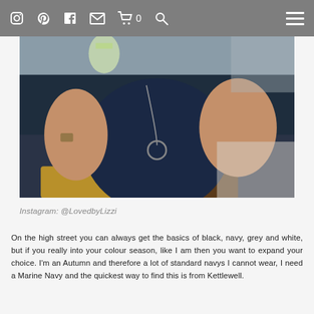Instagram Pinterest Facebook Email Cart 0 Search Menu
[Figure (photo): Woman wearing a navy blue top and long necklace with a circular pendant, seated outdoors, holding a drink. She is wearing yellow/mustard trousers.]
Instagram: @LovedbyLizzi
On the high street you can always get the basics of black, navy, grey and white, but if you really into your colour season, like I am then you want to expand your choice. I'm an Autumn and therefore a lot of standard navys I cannot wear, I need a Marine Navy and the quickest way to find this is from Kettlewell.